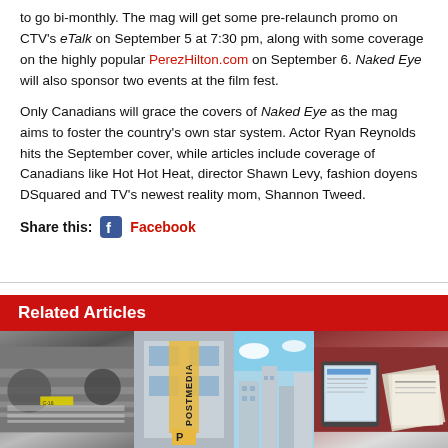to go bi-monthly. The mag will get some pre-relaunch promo on CTV's eTalk on September 5 at 7:30 pm, along with some coverage on the highly popular PerezHilton.com on September 6. Naked Eye will also sponsor two events at the film fest.
Only Canadians will grace the covers of Naked Eye as the mag aims to foster the country's own star system. Actor Ryan Reynolds hits the September cover, while articles include coverage of Canadians like Hot Hot Heat, director Shawn Levy, fashion doyens DSquared and TV's newest reality mom, Shannon Tweed.
Share this: Facebook
Related Articles
[Figure (photo): Four thumbnail images side by side: printing press machinery, Postmedia building sign, city buildings against blue sky, tablet and newspaper stack]